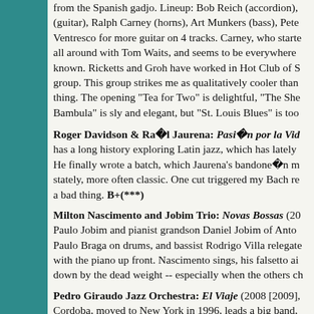from the Spanish gadjo. Lineup: Bob Reich (accordion), (guitar), Ralph Carney (horns), Art Munkers (bass), Pete Ventresco for more guitar on 4 tracks. Carney, who starte all around with Tom Waits, and seems to be everywhere known. Ricketts and Groh have worked in Hot Club of S group. This group strikes me as qualitatively cooler than thing. The opening "Tea for Two" is delightful, "The She Bambula" is sly and elegant, but "St. Louis Blues" is too
Roger Davidson & Raül Jaurena: Pasión por la Vid has a long history exploring Latin jazz, which has lately He finally wrote a batch, which Jaurena's bandonéon m stately, more often classic. One cut triggered my Bach re a bad thing. B+(***)
Milton Nascimento and Jobim Trio: Novas Bossas (20 Paulo Jobim and pianist grandson Daniel Jobim of Anto Paulo Braga on drums, and bassist Rodrigo Villa relegate with the piano up front. Nascimento sings, his falsetto ai down by the dead weight -- especially when the others ch
Pedro Giraudo Jazz Orchestra: El Viaje (2008 [2009], Cordoba, moved to New York in 1996, leads a big band, exception is drummer Jeff Davis. Third album. Relations band swing, is unclear; this feels more like a sprawling s trice, turning it up part way through because I cave had